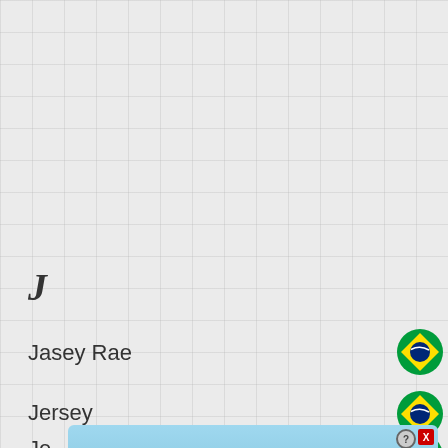J
Jasey Rae
Jersey
Je...
[Figure (screenshot): BitLife advertisement banner with 'NOW WITH GOD MODE' text, lightning bolt graphic, hand pointing graphic, help icon and close button]
[Figure (illustration): Brazilian flag circle emoji next to Jasey Rae]
[Figure (illustration): Brazilian flag circle emoji next to Jersey]
[Figure (illustration): Brazilian flag circle emoji next to third entry]